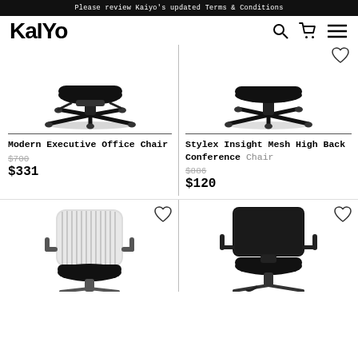Please review Kaiyo's updated Terms & Conditions
[Figure (logo): Kaiyo logo in bold black text with search, cart, and menu icons]
[Figure (photo): Modern Executive Office Chair - bottom view showing base and casters, black]
[Figure (photo): Stylex Insight Mesh High Back Conference Chair - bottom view, black]
Modern Executive Office Chair
$700
$331
Stylex Insight Mesh High Back Conference Chair
$886
$120
[Figure (photo): White mesh/woven back office chair with black seat, bottom portion visible]
[Figure (photo): Black mesh mid-back office chair with armrests, bottom portion visible]